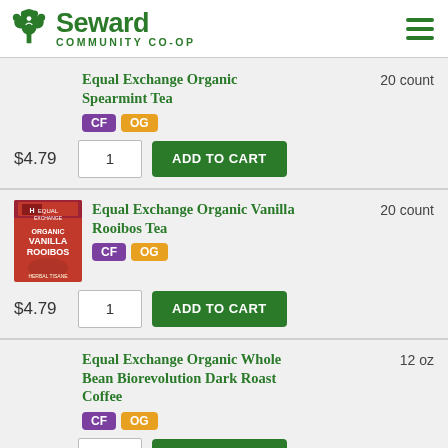Seward Community Co-op
Equal Exchange Organic Spearmint Tea — 20 count — CF OG — $4.79 — ADD TO CART
[Figure (logo): Equal Exchange Vanilla Rooibos Tea product box]
Equal Exchange Organic Vanilla Rooibos Tea — 20 count — CF OG — $4.79 — ADD TO CART
Equal Exchange Organic Whole Bean Biorevolution Dark Roast Coffee — 12 oz — CF OG — $8.49 — ADD TO CART